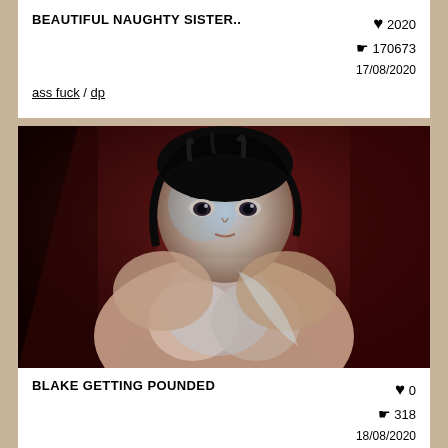BEAUTIFUL NAUGHTY SISTER..
ass fuck / dp
♥ 2020  👁 170673  17/08/2020
[Figure (photo): Anime 3D rendered female character with dark hair, looking forward, wearing a black choker, in a dark red-lit scene]
BLAKE GETTING POUNDED
rwby
♥ 0  👁 318  18/08/2020